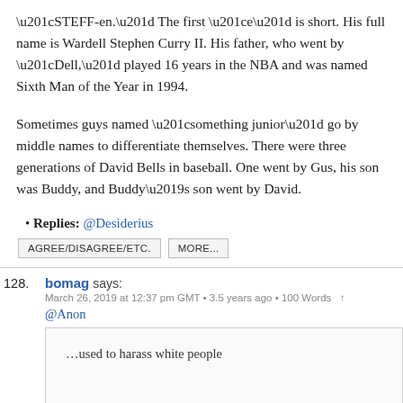“STEFF-en.” The first “e” is short. His full name is Wardell Stephen Curry II. His father, who went by “Dell,” played 16 years in the NBA and was named Sixth Man of the Year in 1994.
Sometimes guys named “something junior” go by middle names to differentiate themselves. There were three generations of David Bells in baseball. One went by Gus, his son was Buddy, and Buddy’s son went by David.
Replies: @Desiderius
AGREE/DISAGREE/ETC.   MORE...
128. bomag says: March 26, 2019 at 12:37 pm GMT • 3.5 years ago • 100 Words ↑
@Anon
…used to harass white people